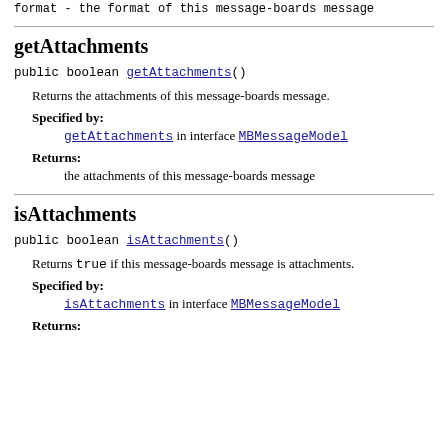format - the format of this message-boards message
getAttachments
public boolean getAttachments()
Returns the attachments of this message-boards message.
Specified by:
getAttachments in interface MBMessageModel
Returns:
the attachments of this message-boards message
isAttachments
public boolean isAttachments()
Returns true if this message-boards message is attachments.
Specified by:
isAttachments in interface MBMessageModel
Returns: